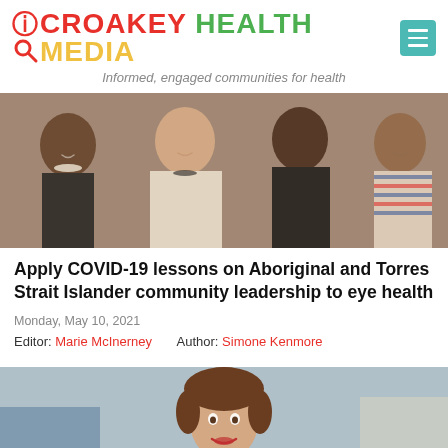CROAKEY HEALTH MEDIA — Informed, engaged communities for health
[Figure (photo): Four women of diverse backgrounds smiling together, group photo]
Apply COVID-19 lessons on Aboriginal and Torres Strait Islander community leadership to eye health
Monday, May 10, 2021
Editor: Marie McInerney    Author: Simone Kenmore
[Figure (photo): Headshot of a smiling woman with short brown hair]